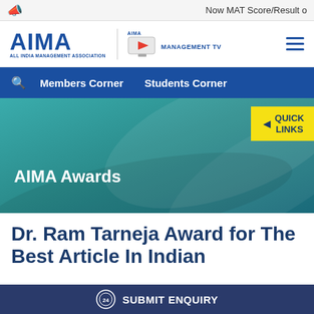Now MAT Score/Result o
[Figure (logo): AIMA - All India Management Association logo with AIMA Management TV logo and hamburger menu]
Members Corner  Students Corner
[Figure (screenshot): AIMA Awards banner with teal background waves and QUICK LINKS button in yellow]
Dr. Ram Tarneja Award for The Best Article In Indian Management
SUBMIT ENQUIRY